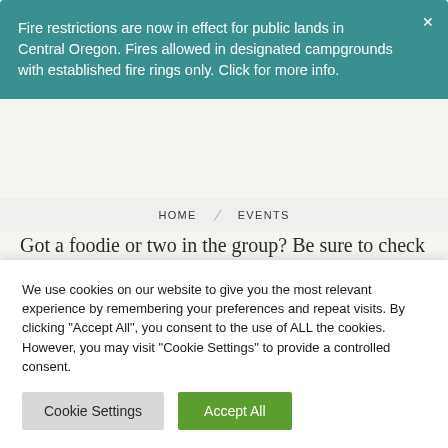Fire restrictions are now in effect for public lands in Central Oregon. Fires allowed in designated campgrounds with established fire rings only. Click for more info. ×
HOME / EVENTS
Got a foodie or two in the group? Be sure to check out the Bite of Bend, a three-day food party where you can taste local flavors from chefs, bartenders, brewers, and food enthusiasts from the area. Or head over to Munch and Music for a perfect blend of live music in the park paired with a
We use cookies on our website to give you the most relevant experience by remembering your preferences and repeat visits. By clicking "Accept All", you consent to the use of ALL the cookies. However, you may visit "Cookie Settings" to provide a controlled consent.